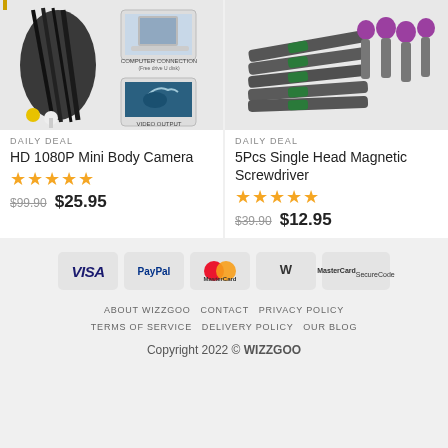[Figure (photo): Product image of HD 1080P Mini Body Camera showing cables with connectors and a laptop/TV diagram showing Computer Connection and Video Output]
[Figure (photo): Product image of 5Pcs Single Head Magnetic Screwdriver bits with green and purple colored heads]
DAILY DEAL
HD 1080P Mini Body Camera
★★★★★
$99.90  $25.95
DAILY DEAL
5Pcs Single Head Magnetic Screwdriver
★★★★★
$39.90  $12.95
[Figure (logo): Payment method badges: VISA, PayPal, MasterCard, WorldPay, MasterCard SecureCode]
ABOUT WIZZGOO   CONTACT   PRIVACY POLICY   TERMS OF SERVICE   DELIVERY POLICY   OUR BLOG   Copyright 2022 © WIZZGOO